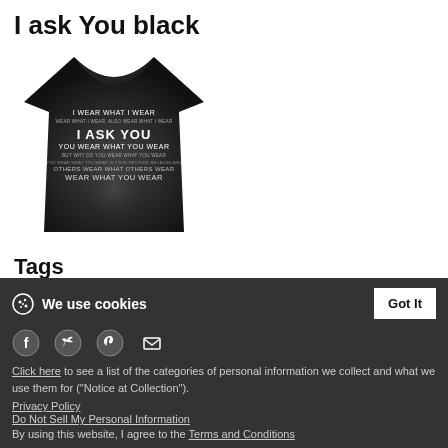I ask You black
[Figure (photo): Black t-shirt with white text reading 'I WEAR WHAT I WEAR / I ASK YOU / YOU WEAR WHAT YOU WEAR / BUT WHY DO YOU WEAR WHAT YOU WEAR / OTHERS WEAR WHAT OTHERS WEAR / WEAR WHAT YOU WEAR']
Tags
black   ask   you
We use cookies
Click here to see a list of the categories of personal information we collect and what we use them for ("Notice at Collection").
Privacy Policy
Do Not Sell My Personal Information
By using this website, I agree to the Terms and Conditions